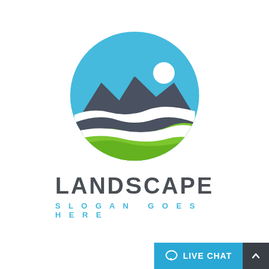[Figure (logo): Circular landscape logo with blue sky and sun at top, dark grey mountains in the middle, white wave dividers, and green rolling hills/fields at the bottom. Below the circle: bold dark grey text 'LANDSCAPE' and light blue spaced text 'SLOGAN GOES HERE'.]
LIVE CHAT